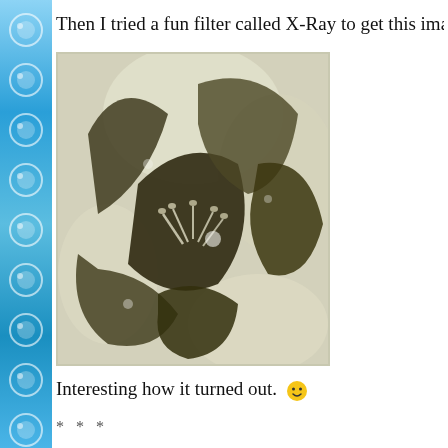Then I tried a fun filter called X-Ray to get this ima...
[Figure (photo): An X-Ray filtered image of a lily flower, showing dark sepia/olive tones on light background, giving an inverted photographic look. The flower petals and stamens are visible in high contrast.]
Interesting how it turned out. 🙂
* * *